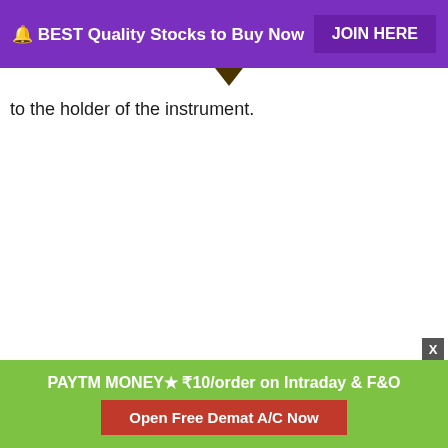🔔 BEST Quality Stocks to Buy Now   JOIN HERE
to the holder of the instrument.
PAYTM MONEY★ ₹10/order on Intraday & F&O   Open Free Demat A/C Now